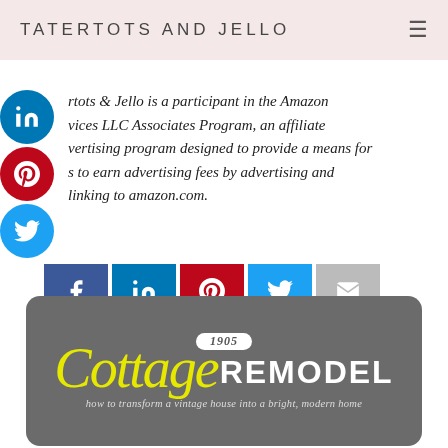TATERTOTS AND JELLO
Tatertots & Jello is a participant in the Amazon Services LLC Associates Program, an affiliate advertising program designed to provide a means for sites to earn advertising fees by advertising and linking to amazon.com.
[Figure (other): Social share buttons row: Facebook, LinkedIn, Pinterest, Twitter, Email]
[Figure (logo): 1905 Cottage Remodel logo — how to transform a vintage house into a bright, modern home]